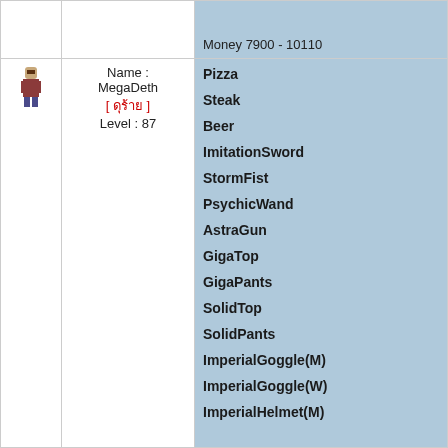Money 7900 - 10110
Name : MegaDeth [ ดุร้าย ] Level : 87
Pizza
Steak
Beer
ImitationSword
StormFist
PsychicWand
AstraGun
GigaTop
GigaPants
SolidTop
SolidPants
ImperialGoggle(M)
ImperialGoggle(W)
ImperialHelmet(M)